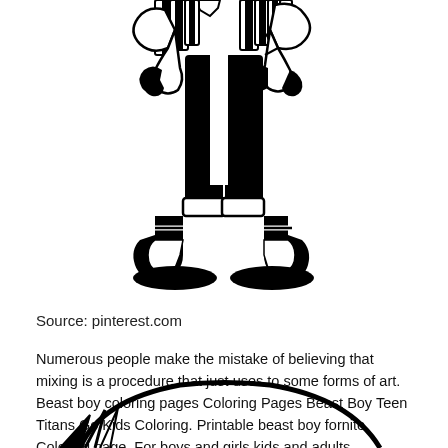[Figure (illustration): Black and white coloring page illustration showing the lower body/legs and feet of a character (Beast Boy) wearing boots with straps, dark leggings, and a short skirt or cape at the top. The style is cartoon/comic book line art.]
Source: pinterest.com
Numerous people make the mistake of believing that mixing is a procedure that just uses to some forms of art. Beast boy coloring pages Coloring Pages Beast Boy Teen Titans Go Kids Coloring. Printable beast boy fornite Coloring page. For boys and girls kids and adults teenagers and toddlers preschoolers and older kids at school. For boys and girls kids and adults teenagers and toddlers preschoolers and older kids at school.
[Figure (illustration): Partial black and white coloring page illustration showing the top of a rounded shape (likely an animal or character head) with some line details, cropped at the bottom of the page.]